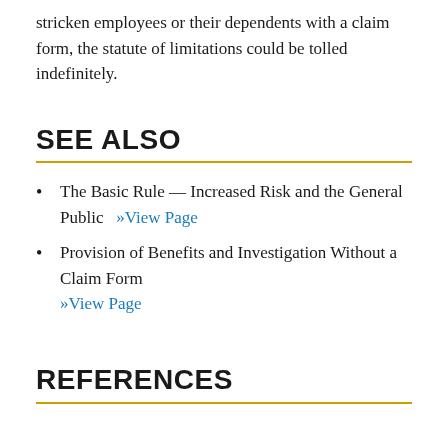stricken employees or their dependents with a claim form, the statute of limitations could be tolled indefinitely.
SEE ALSO
The Basic Rule — Increased Risk and the General Public   »View Page
Provision of Benefits and Investigation Without a Claim Form   »View Page
REFERENCES